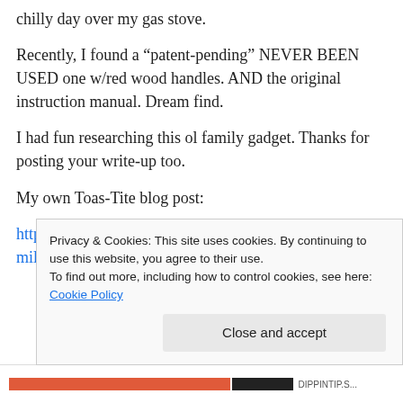chilly day over my gas stove.
Recently, I found a “patent-pending” NEVER BEEN USED one w/red wood handles. AND the original instruction manual. Dream find.
I had fun researching this ol family gadget. Thanks for posting your write-up too.
My own Toas-Tite blog post:
http://snowflowerstreet.blogspot.com/2010/10/family-contraptions-toas-tite-maker.html
Privacy & Cookies: This site uses cookies. By continuing to use this website, you agree to their use.
To find out more, including how to control cookies, see here: Cookie Policy